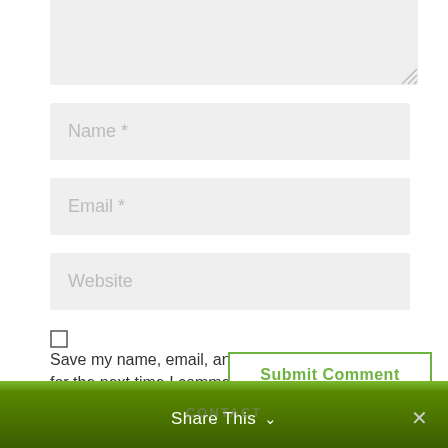[Figure (screenshot): Text area input field (comment box) with resize handle, partially cropped at top]
Name *
Email *
Website
Save my name, email, and website in this browser for the next time I comment.
Submit Comment
Share This ∨  ✕